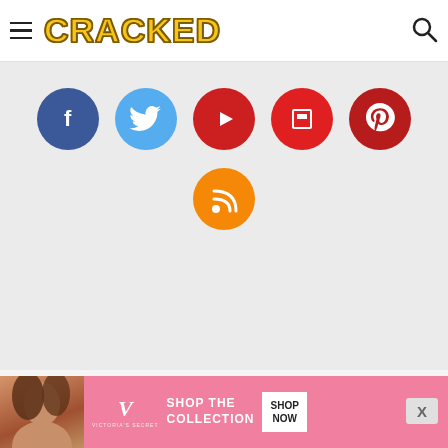CRACKED
[Figure (infographic): Social media icons row: Facebook (dark blue circle with f), Twitter (light blue circle with bird), YouTube (red circle with play button), Flipboard (red circle with f-flag), Pinterest (dark red circle with p), and RSS (orange circle with wifi/rss icon)]
Home
Articles
Photoplasty
[Figure (photo): Victoria's Secret advertisement banner with woman model, VS logo, text SHOP THE COLLECTION, and SHOP NOW button]